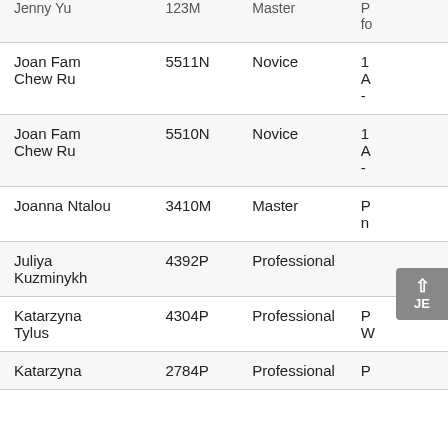| Name | ID | Level | Info |
| --- | --- | --- | --- |
| Jenny Yu (partial) | 123M (partial) | Master | P... fo... |
| Joan Fam Chew Ru | 5511N | Novice | 1 A - |
| Joan Fam Chew Ru | 5510N | Novice | 1 A - |
| Joanna Ntalou | 3410M | Master | P... n... |
| Juliya Kuzminykh | 4392P | Professional | JE... |
| Katarzyna Tylus | 4304P | Professional | P W... |
| Katarzyna (partial) | 2784P | Professional | P... |